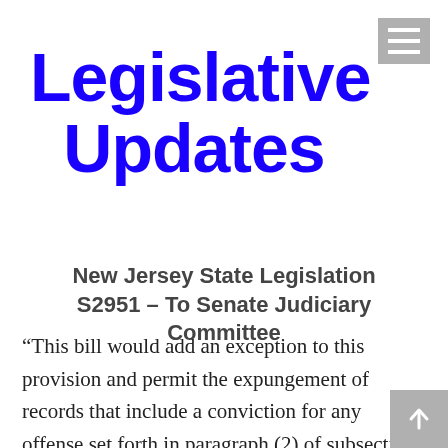Legislative Updates
New Jersey State Legislation
S2951 – To Senate Judiciary Committee
“This bill would add an exception to this provision and permit the expungement of records that include a conviction for any offense set forth in paragraph (2) of subsection a. of N.J.S.2C:24-4 (endangering the welfare of a child by causing the child harm that would